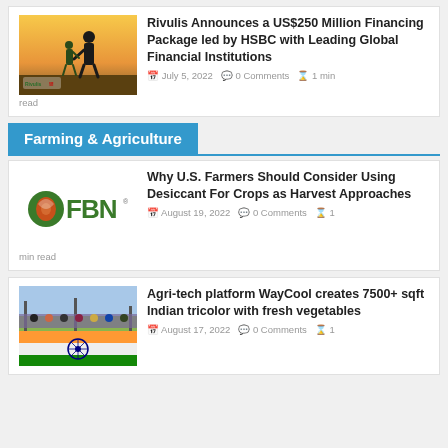[Figure (photo): Photo of adult and child holding hands silhouetted at sunset with Rivulis and HSBC logos]
Rivulis Announces a US$250 Million Financing Package led by HSBC with Leading Global Financial Institutions
July 5, 2022  0 Comments  1 min read
Farming & Agriculture
[Figure (logo): FBN (Farmers Business Network) green logo]
Why U.S. Farmers Should Consider Using Desiccant For Crops as Harvest Approaches
August 19, 2022  0 Comments  1 min read
[Figure (photo): Group of people standing around a large Indian tricolor flag made of vegetables on the ground]
Agri-tech platform WayCool creates 7500+ sqft Indian tricolor with fresh vegetables
August 17, 2022  0 Comments  1